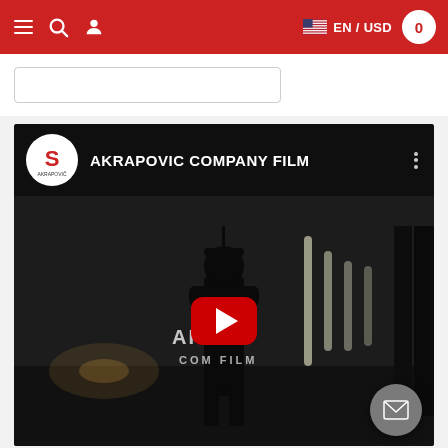Navigation bar with hamburger menu, search, user icon, EN / USD language selector, and cart (0)
[Figure (screenshot): YouTube embedded video for AKRAPOVIC COMPANY FILM showing a dark industrial scene with a silhouetted figure wearing welding gear and a play button overlay. The YouTube header shows the Akrapovic logo, title AKRAPOVIC COMPANY FILM, and a three-dot menu. A grey chat/message button appears in the lower right corner.]
AKRAPOVIC COMPANY FILM